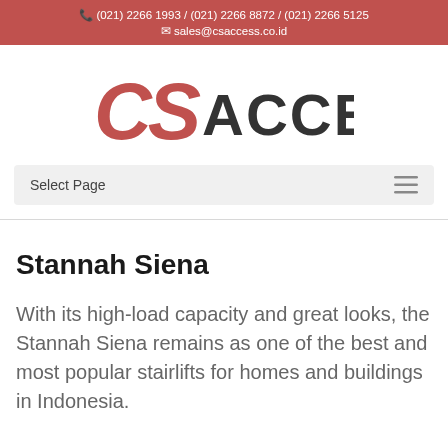📞 (021) 2266 1993 / (021) 2266 8872 / (021) 2266 5125 ✉ sales@csaccess.co.id
[Figure (logo): CS ACCESS logo with CS in red italic and ACCESS in dark gray bold]
Select Page
Stannah Siena
With its high-load capacity and great looks, the Stannah Siena remains as one of the best and most popular stairlifts for homes and buildings in Indonesia.